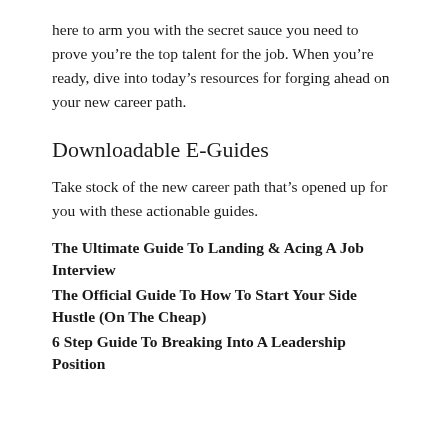here to arm you with the secret sauce you need to prove you're the top talent for the job. When you're ready, dive into today's resources for forging ahead on your new career path.
Downloadable E-Guides
Take stock of the new career path that's opened up for you with these actionable guides.
The Ultimate Guide To Landing & Acing A Job Interview
The Official Guide To How To Start Your Side Hustle (On The Cheap)
6 Step Guide To Breaking Into A Leadership Position